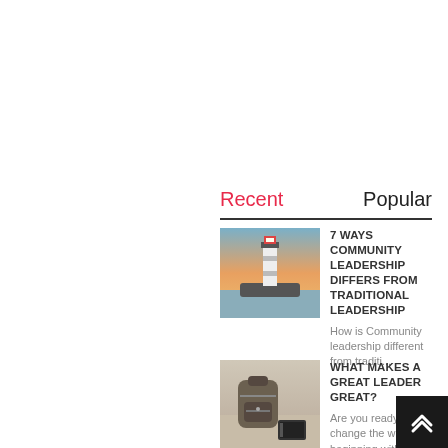Recent
Popular
7 WAYS COMMUNITY LEADERSHIP DIFFERS FROM TRADITIONAL LEADERSHIP
How is Community leadership different from traditi...
WHAT MAKES A GREAT LEADER GREAT?
Are you ready to change the world - beginning with...
[Figure (photo): Lighthouse at sunset with orange sky]
[Figure (photo): Backpack and book on a surface]